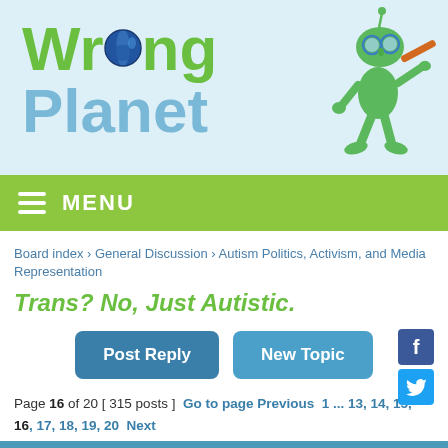[Figure (logo): Wrong Planet website logo with green alien character playing a flute]
≡ MENU
Board index › General Discussion › Autism Politics, Activism, and Media Representation
Trans? No, Just Autistic.
Post Reply   New Topic
Page 16 of 20 [ 315 posts ]  Go to page Previous  1 ... 13, 14, 15, 16, 17, 18, 19, 20  Next
Previous topic | Next topic
24 Apr 2022, 2:33 am